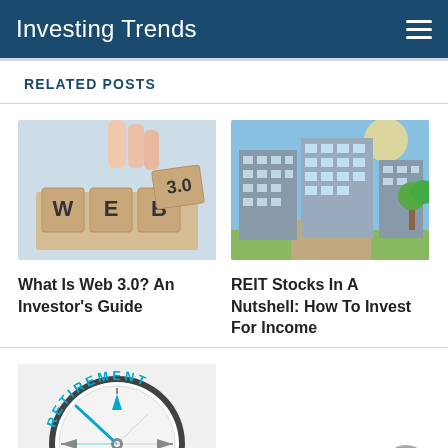Investing Trends
RELATED POSTS
[Figure (photo): Hand placing wooden letter tiles spelling WEB 3.0 on a light blue background]
What Is Web 3.0? An Investor’s Guide
[Figure (photo): Modern glass office buildings with trees along a sunny street]
REIT Stocks In A Nutshell: How To Invest For Income
[Figure (photo): Compass with RETIREMENT text pointing north on white background]